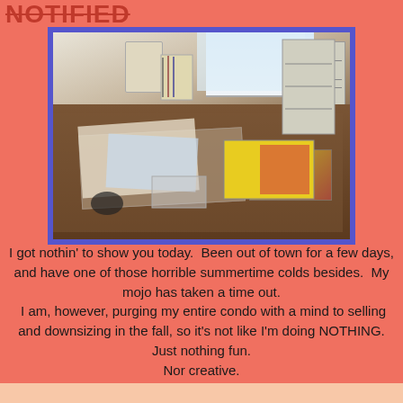NOTIFIED
[Figure (photo): A cluttered desk with papers, books, pens, a cup holder with supplies, file drawers in the background, and a window providing light. Various craft and office items scattered across the desk surface.]
I got nothin' to show you today.  Been out of town for a few days, and have one of those horrible summertime colds besides.  My mojo has taken a time out.
 I am, however, purging my entire condo with a mind to selling and downsizing in the fall, so it's not like I'm doing NOTHING.
Just nothing fun.
Nor creative.
There are way more fun Workdesks at Julia's place.